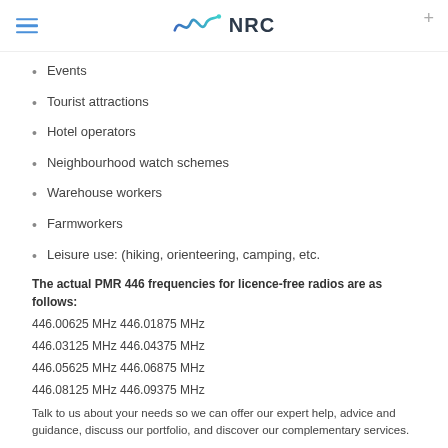NRC
Events
Tourist attractions
Hotel operators
Neighbourhood watch schemes
Warehouse workers
Farmworkers
Leisure use: (hiking, orienteering, camping, etc.
The actual PMR 446 frequencies for licence-free radios are as follows:
446.00625 MHz 446.01875 MHz
446.03125 MHz 446.04375 MHz
446.05625 MHz 446.06875 MHz
446.08125 MHz 446.09375 MHz
Talk to us about your needs so we can offer our expert help, advice and guidance, discuss our portfolio, and discover our complementary services.